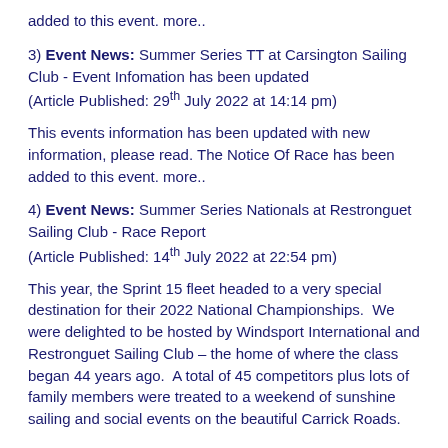added to this event. more..
3) Event News: Summer Series TT at Carsington Sailing Club - Event Infomation has been updated
(Article Published: 29th July 2022 at 14:14 pm)
This events information has been updated with new information, please read. The Notice Of Race has been added to this event. more..
4) Event News: Summer Series Nationals at Restronguet Sailing Club - Race Report
(Article Published: 14th July 2022 at 22:54 pm)
This year, the Sprint 15 fleet headed to a very special destination for their 2022 National Championships.  We were delighted to be hosted by Windsport International and Restronguet Sailing Club – the home of where the class began 44 years ago.  A total of 45 competitors plus lots of family members were treated to a weekend of sunshine sailing and social events on the beautiful Carrick Roads.
more..
5) Event News: Summer Series TT at Draycote Water